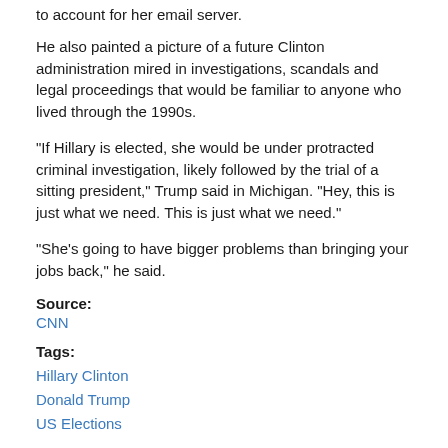to account for her email server.
He also painted a picture of a future Clinton administration mired in investigations, scandals and legal proceedings that would be familiar to anyone who lived through the 1990s.
"If Hillary is elected, she would be under protracted criminal investigation, likely followed by the trial of a sitting president," Trump said in Michigan. "Hey, this is just what we need. This is just what we need."
"She's going to have bigger problems than bringing your jobs back," he said.
Source:
CNN
Tags:
Hillary Clinton
Donald Trump
US Elections
ALSO ON LOOP PNG